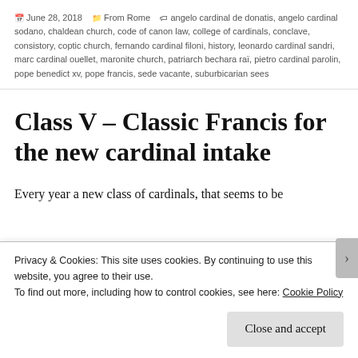June 28, 2018 | From Rome | angelo cardinal de donatis, angelo cardinal sodano, chaldean church, code of canon law, college of cardinals, conclave, consistory, coptic church, fernando cardinal filoni, history, leonardo cardinal sandri, marc cardinal ouellet, maronite church, patriarch bechara raï, pietro cardinal parolin, pope benedict xv, pope francis, sede vacante, suburbicarian sees
Class V – Classic Francis for the new cardinal intake
Every year a new class of cardinals, that seems to be
Privacy & Cookies: This site uses cookies. By continuing to use this website, you agree to their use.
To find out more, including how to control cookies, see here: Cookie Policy